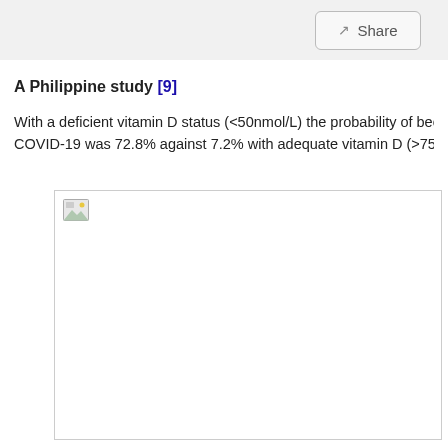Share
A Philippine study [9]
With a deficient vitamin D status (<50nmol/L) the probability of becoming COVID-19 was 72.8% against 7.2% with adequate vitamin D (>75nmo
[Figure (photo): Broken image placeholder — image failed to load, shown as white rectangle with broken image icon in top-left corner.]